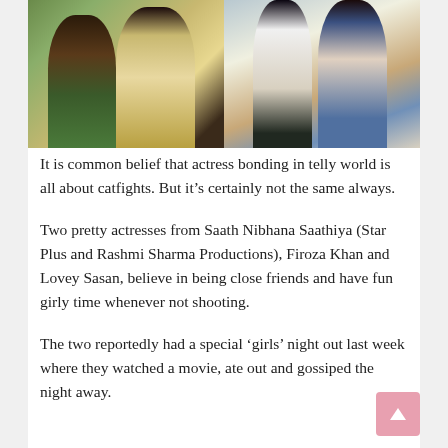[Figure (photo): Two photos side by side: left shows two young women taking a selfie close-up, right shows two young women standing together outdoors in casual clothes]
It is common belief that actress bonding in telly world is all about catfights. But it’s certainly not the same always.
Two pretty actresses from Saath Nibhana Saathiya (Star Plus and Rashmi Sharma Productions), Firoza Khan and Lovey Sasan, believe in being close friends and have fun girly time whenever not shooting.
The two reportedly had a special ‘girls’ night out last week where they watched a movie, ate out and gossiped the night away.